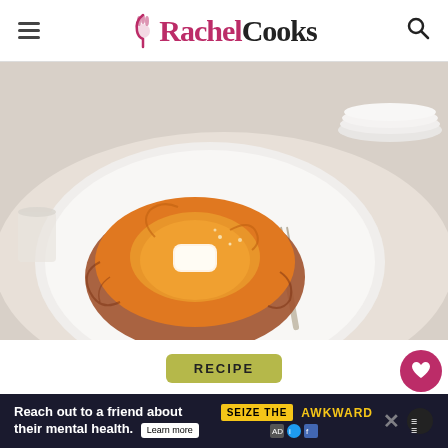RachelCooks
[Figure (photo): A baked sweet potato opened and topped with butter on a white plate, with a fork alongside, on a light background with stacked white plates.]
RECIPE
Instant Pot Sweet Potatoes - Perfect
[Figure (other): Ad banner: Reach out to a friend about their mental health. Learn more. SEIZE THE AWKWARD.]